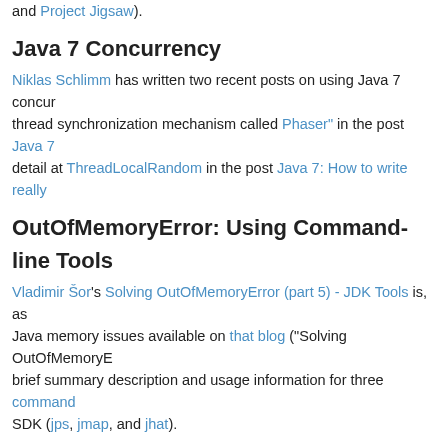and Project Jigsaw).
Java 7 Concurrency
Niklas Schlimm has written two recent posts on using Java 7 concur... thread synchronization mechanism called Phaser" in the post Java 7... detail at ThreadLocalRandom in the post Java 7: How to write really...
OutOfMemoryError: Using Command-line Tools
Vladimir Šor's Solving OutOfMemoryError (part 5) - JDK Tools is, as... Java memory issues available on that blog ("Solving OutOfMemoryE... brief summary description and usage information for three command... SDK (jps, jmap, and jhat).
The previous entries in this series are written by Nikita Salnikov-Tarn... story of a developer, Solving OutOfMemoryError (part 2)- why didn't... OutOfMemoryError (part 3) - where do you start?, and Solving OutO...
Debugging the JVM
Attila Balazs's post Debugging the JVM provides interesting insight o... do as often these days as in the earlier days of the JVM, but could b... this does occur. Balazs talks about "crashing the JVM itself" via null... explain using gdb in Linux to debug the issue with the JVM.